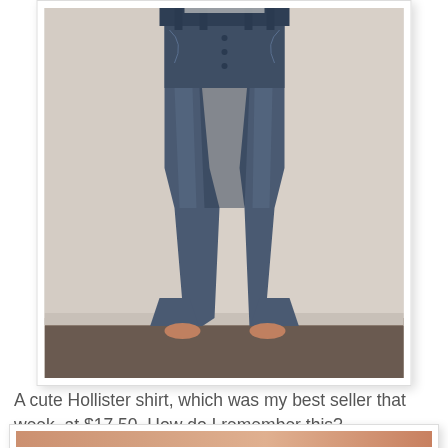[Figure (photo): A person wearing blue denim jeans (bootcut/flare style), standing barefoot on a carpet floor against a light-colored wall. The photo is framed with a white border and subtle drop shadow, showing the person from waist to feet.]
A cute Hollister shirt, which was my best seller that week, at $17.50. How do I remember this?
[Figure (photo): Partial view of a second photo showing what appears to be a person with reddish-blonde hair, cropped at the bottom of the page.]